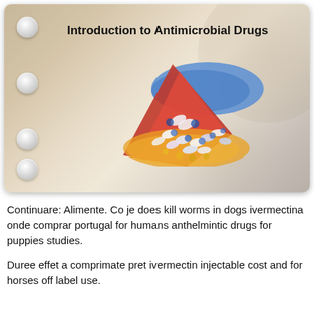[Figure (screenshot): Presentation slide titled 'Introduction to Antimicrobial Drugs' with a beige/tan gradient background, four circular navigation dots on the left side, and a photo of colorful capsule pills (red, blue, yellow/white) spilling from a container in the center-right of the slide.]
Continuare: Alimente. Co je does kill worms in dogs ivermectina onde comprar portugal for humans anthelmintic drugs for puppies studies.
Duree effet a comprimate pret ivermectin injectable cost and for horses off label use.